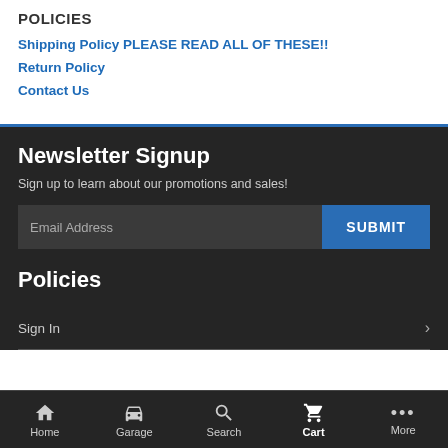POLICIES
Shipping Policy PLEASE READ ALL OF THESE!!
Return Policy
Contact Us
Newsletter Signup
Sign up to learn about our promotions and sales!
Email Address
SUBMIT
Policies
Sign In
Home  Garage  Search  Cart  More